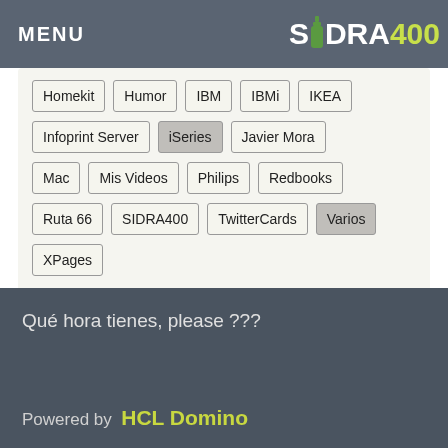MENU | SIDRA400
Homekit
Humor
IBM
IBMi
IKEA
Infoprint Server
iSeries
Javier Mora
Mac
Mis Videos
Philips
Redbooks
Ruta 66
SIDRA400
TwitterCards
Varios
XPages
Qué hora tienes, please ???
Powered by HCL Domino